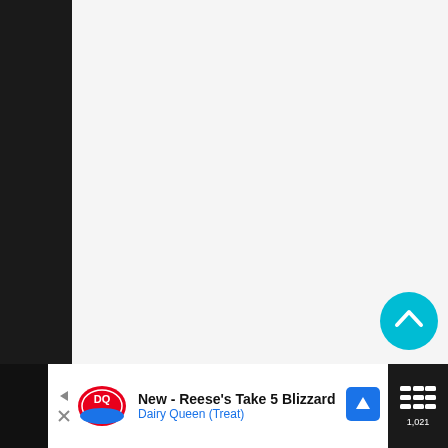[Figure (screenshot): A mostly blank light gray content area representing a web page loading or empty state, with a dark background on the sides.]
[Figure (other): A teal circular back-to-top button with a white upward chevron arrow icon, positioned in the lower right of the main content area.]
[Figure (other): Advertisement bar at the bottom: Dairy Queen ad showing DQ logo, text 'New - Reese's Take 5 Blizzard' and 'Dairy Queen (Treat)' with a blue navigation arrow icon, against white background. App icon area on far right shows a dark background with white text/icon.]